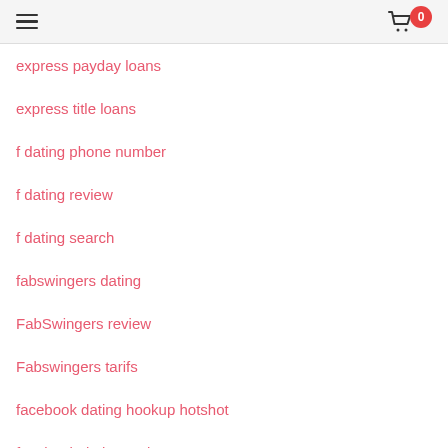hamburger menu | cart 0
express payday loans
express title loans
f dating phone number
f dating review
f dating search
fabswingers dating
FabSwingers review
Fabswingers tarifs
facebook dating hookup hotshot
facebook dating review